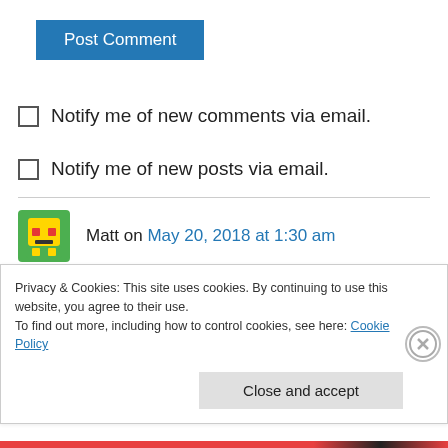[Figure (other): Blue 'Post Comment' button]
Notify me of new comments via email.
Notify me of new posts via email.
Matt on May 20, 2018 at 1:30 am
It is a shame that the original plan for Laura to be the name Talon never happened. It was a generic name, but a name that would fit much
Privacy & Cookies: This site uses cookies. By continuing to use this website, you agree to their use.
To find out more, including how to control cookies, see here: Cookie Policy
Close and accept